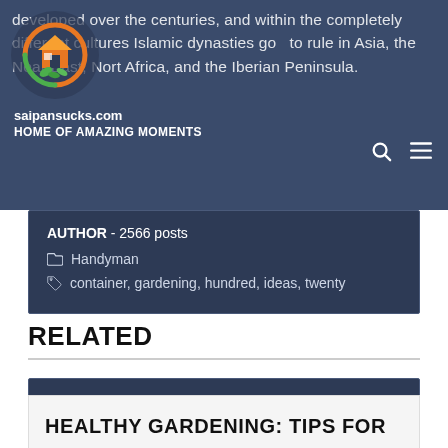saipansucks.com — HOME OF AMAZING MOMENTS
AUTHOR - 2566 posts
Handyman
container, gardening, hundred, ideas, twenty
‹ Drip Irrigation For House Gardens | 250 Residence & Backyard Design Concepts In 2021 ›
RELATED
HEALTHY GARDENING: TIPS FOR